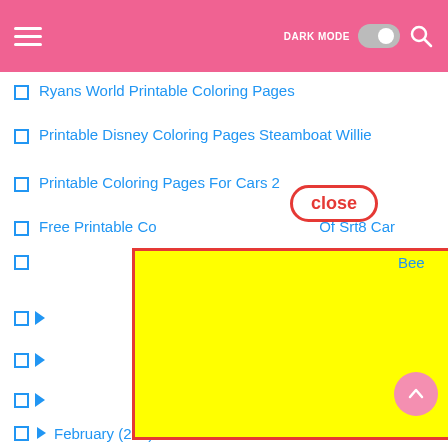DARK MODE [toggle] [search]
Ryans World Printable Coloring Pages
Printable Disney Coloring Pages Steamboat Willie
Printable Coloring Pages For Cars 2
Free Printable Co... Of Srt8 Car
[Figure (other): Close button overlay with red border and red bold text 'close' on white background, pill-shaped]
[Figure (other): Large yellow rectangle with red border covering most of the lower half of the page, representing an advertisement overlay]
(partially visible list item - Bee)
(collapsed list item with triangle)
(collapsed list item with triangle)
(collapsed list item with triangle)
(collapsed list item with triangle)
(collapsed list item with triangle)
February (207)